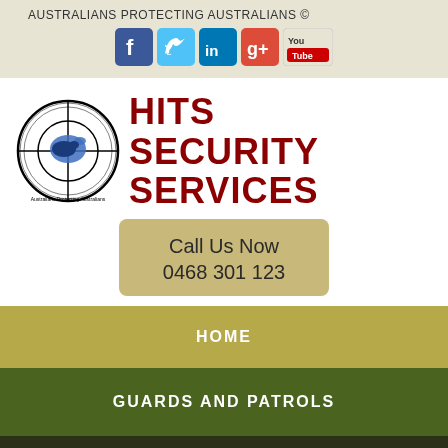AUSTRALIANS PROTECTING AUSTRALIANS ©
[Figure (logo): Social media icons: Facebook, Twitter, LinkedIn, Google+, YouTube]
[Figure (logo): HITS Security Services circular logo with crosshair and Australian map silhouette]
HITS SECURITY SERVICES
Call Us Now
0468 301 123
HOME
GUARDS AND PATROLS
SECURITY SYSTEMS